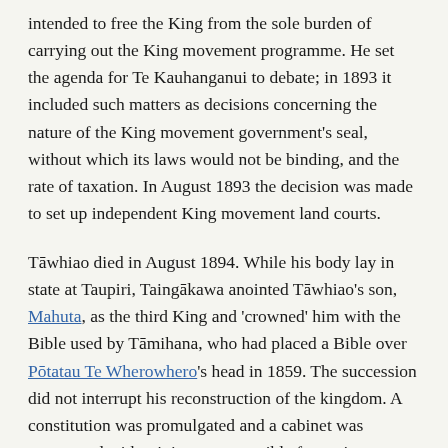intended to free the King from the sole burden of carrying out the King movement programme. He set the agenda for Te Kauhanganui to debate; in 1893 it included such matters as decisions concerning the nature of the King movement government's seal, without which its laws would not be binding, and the rate of taxation. In August 1893 the decision was made to set up independent King movement land courts.
Tāwhiao died in August 1894. While his body lay in state at Taupiri, Taingākawa anointed Tāwhiao's son, Mahuta, as the third King and 'crowned' him with the Bible used by Tāmihana, who had placed a Bible over Pōtatau Te Wherowhero's head in 1859. The succession did not interrupt his reconstruction of the kingdom. A constitution was promulgated and a cabinet was announced with ministers responsible for various portfolios, and in the following years King movement magistrates, policemen, and a registrar for the kingdom's land court were appointed. Taingākawa